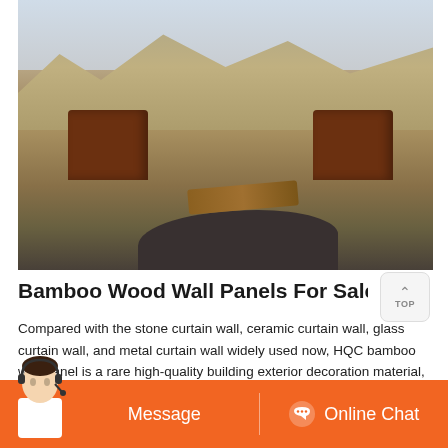[Figure (photo): Construction site with heavy machinery, piles of gravel and lumber, hilly terrain in background]
Bamboo Wood Wall Panels For Sale Bamboo Outdoo
Compared with the stone curtain wall, ceramic curtain wall, glass curtain wall, and metal curtain wall widely used now, HQC bamboo wall panel is a rare high-quality building exterior decoration material, with the advantages of absorbing ultraviolet rays, preventing light pollution, sound insulation, low carbon environmental protection, etc.
[Figure (illustration): Orange bottom action bar with Message button and Online Chat button with agent photo]
Message
Online Chat